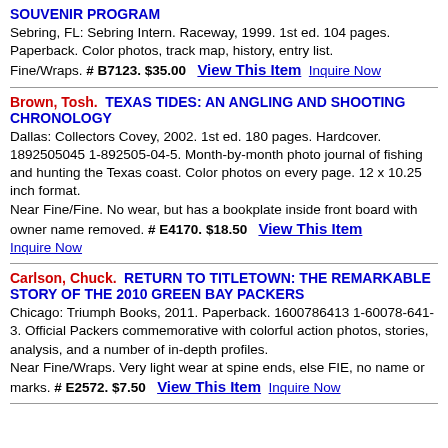SOUVENIR PROGRAM Sebring, FL: Sebring Intern. Raceway, 1999. 1st ed. 104 pages. Paperback. Color photos, track map, history, entry list. Fine/Wraps. # B7123. $35.00   View This Item   Inquire Now
Brown, Tosh. TEXAS TIDES: AN ANGLING AND SHOOTING CHRONOLOGY Dallas: Collectors Covey, 2002. 1st ed. 180 pages. Hardcover. 1892505045 1-892505-04-5. Month-by-month photo journal of fishing and hunting the Texas coast. Color photos on every page. 12 x 10.25 inch format. Near Fine/Fine. No wear, but has a bookplate inside front board with owner name removed. # E4170. $18.50   View This Item   Inquire Now
Carlson, Chuck. RETURN TO TITLETOWN: THE REMARKABLE STORY OF THE 2010 GREEN BAY PACKERS Chicago: Triumph Books, 2011. Paperback. 1600786413 1-60078-641-3. Official Packers commemorative with colorful action photos, stories, analysis, and a number of in-depth profiles. Near Fine/Wraps. Very light wear at spine ends, else FIE, no name or marks. # E2572. $7.50   View This Item   Inquire Now